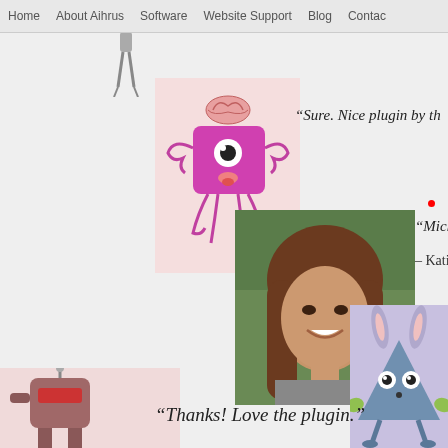Home   About Aihrus   Software   Website Support   Blog   Contac
[Figure (illustration): Cartoon robot figure with thin legs, partially visible at top]
[Figure (illustration): Pink square monster character with brain on top, one eye, tongue out, with tentacle-like arms and legs on pink background]
“Sure. Nice plugin by th
[Figure (photo): Headshot of a smiling young woman with long brown hair, outdoors]
“Michael -
– Katie
[Figure (illustration): Blue/grey triangle-shaped monster character with bunny ears, wide eyes, and small hands on lavender background]
[Figure (illustration): Reddish-brown small robot character with antenna, partially visible at bottom left corner on pink background]
“Thanks! Love the plugin.”